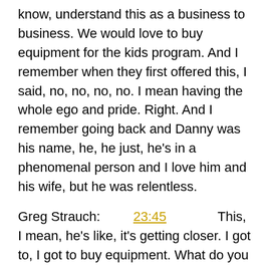know, understand this as a business to business. We would love to buy equipment for the kids program. And I remember when they first offered this, I said, no, no, no, no. I mean having the whole ego and pride. Right. And I remember going back and Danny was his name, he, he just, he's in a phenomenal person and I love him and his wife, but he was relentless.
Greg Strauch: 23:45 This, I mean, he's like, it's getting closer. I got to, I got to buy equipment. What do you need? And I remember going to my coach that was wearing the program at the time. I said, hey, what equipment would you need? Like make a dream sheet. And so she did. And it was, I looked at it and I said, wow, this is, this is pretty expensive. This is not cheap. And Danny, Danny came to me again and was like, Hey, do you have a list? Do you have something? I